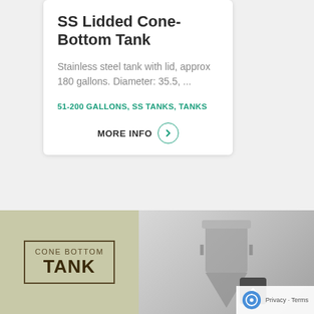SS Lidded Cone-Bottom Tank
Stainless steel tank with lid, approx 180 gallons. Diameter: 35.5, ...
51-200 GALLONS, SS TANKS, TANKS
MORE INFO
[Figure (photo): Banner showing 'CONE BOTTOM TANK' label on olive/green background on left, and a photo of a stainless steel cone-bottom tank on the right]